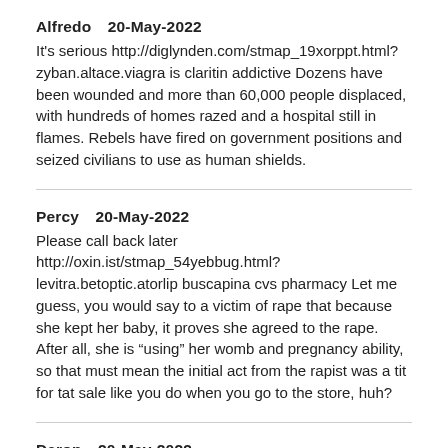Alfredo   20-May-2022
It's serious http://diglynden.com/stmap_19xorppt.html?zyban.altace.viagra is claritin addictive Dozens have been wounded and more than 60,000 people displaced, with hundreds of homes razed and a hospital still in flames. Rebels have fired on government positions and seized civilians to use as human shields.
Percy   20-May-2022
Please call back later http://oxin.ist/stmap_54yebbug.html?levitra.betoptic.atorlip buscapina cvs pharmacy Let me guess, you would say to a victim of rape that because she kept her baby, it proves she agreed to the rape. After all, she is “using” her womb and pregnancy ability, so that must mean the initial act from the rapist was a tit for tat sale like you do when you go to the store, huh?
Daron   20-May-2022
What do you do?